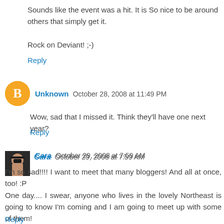Sounds like the event was a hit. It is So nice to be around others that simply get it.

Rock on Deviant! ;-)
Reply
Unknown  October 28, 2008 at 11:49 PM
Wow, sad that I missed it. Think they'll have one next year?
Reply
Cara  October 29, 2008 at 7:59 AM
I'm so sad!!!! I want to meet that many bloggers! And all at once, too! :P
One day.... I swear, anyone who lives in the lovely Northeast is going to know I'm coming and I am going to meet up with some of them!
It sounds like you guys had lots of fun.
Reply